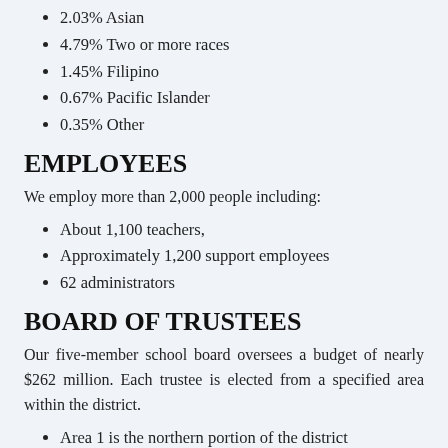2.03% Asian
4.79% Two or more races
1.45% Filipino
0.67% Pacific Islander
0.35% Other
EMPLOYEES
We employ more than 2,000 people including:
About 1,100 teachers,
Approximately 1,200 support employees
62 administrators
BOARD OF TRUSTEES
Our five-member school board oversees a budget of nearly $262 million. Each trustee is elected from a specified area within the district.
Area 1 is the northern portion of the district
Area 2 is the eastern portion
Area 3 is the western portion